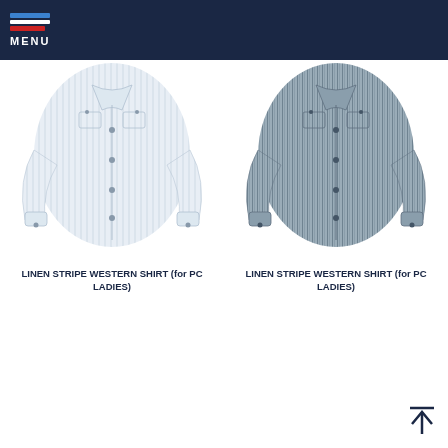MENU
[Figure (photo): Light blue/white linen stripe western shirt for ladies, long sleeve with snap buttons]
LINEN STRIPE WESTERN SHIRT (for PC LADIES)
[Figure (photo): Gray/dark stripe linen western shirt for ladies, long sleeve with snap buttons]
LINEN STRIPE WESTERN SHIRT (for PC LADIES)